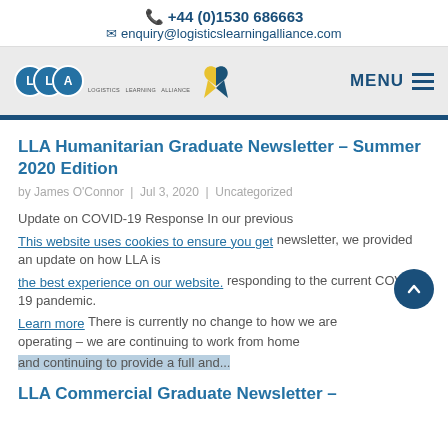📞 +44 (0)1530 686663
✉ enquiry@logisticslearningalliance.com
[Figure (logo): LLA logo with three overlapping blue circles labeled L, L, A and a yellow/blue awareness ribbon; MENU button with hamburger lines on the right]
LLA Humanitarian Graduate Newsletter – Summer 2020 Edition
by James O'Connor | Jul 3, 2020 | Uncategorized
Update on COVID-19 Response In our previous newsletter, we provided an update on how LLA is responding to the current COVID-19 pandemic. There is currently no change to how we are operating – we are continuing to work from home and continuing to provide a full and…
LLA Commercial Graduate Newsletter –